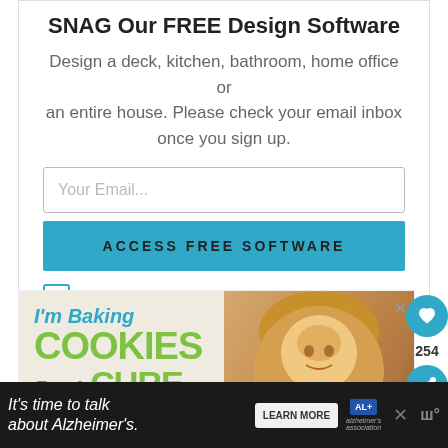SNAG Our FREE Design Software
Design a deck, kitchen, bathroom, home office or an entire house. Please check your email inbox once you sign up.
[Figure (screenshot): Email input field with placeholder text 'Your Email...' and a teal 'ACCESS FREE SOFTWARE' button below]
I consent to receiving emails and personalized ads.
[Figure (photo): Ad banner: 'I'm Baking COOKIES For A CURE' with a photo of a smiling girl]
[Figure (infographic): Footer ad: 'It's time to talk about Alzheimer's.' with LEARN MORE button and Alzheimer's Association logo]